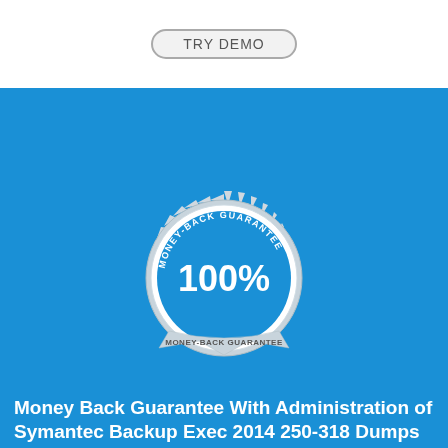[Figure (other): TRY DEMO button with rounded border at top of page]
[Figure (illustration): Money-Back Guarantee seal/badge with 100% text and ribbon on blue background]
Money Back Guarantee With Administration of Symantec Backup Exec 2014 250-318 Dumps
We are providing free Symantec 250-318 practice questions answers that show the quality of our 250-318 exam dumps. We ensure you that Exam4Lead is one of the most reliable website for Symantec 250-318 exam preparation. Feel free and download our 250-318 dumps and pass your exam with